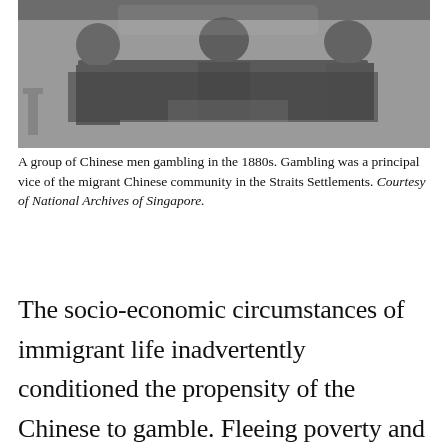[Figure (photo): Black and white historical photograph of a group of Chinese men gambling in the 1880s, seated around a table.]
A group of Chinese men gambling in the 1880s. Gambling was a principal vice of the migrant Chinese community in the Straits Settlements. Courtesy of National Archives of Singapore.
The socio-economic circumstances of immigrant life inadvertently conditioned the propensity of the Chinese to gamble. Fleeing poverty and unrest in their homeland in the 19th century, Chinese immigrants arrived by the boatloads, swelling the ranks of unskilled labourers in Singapore. In his study on Chinese